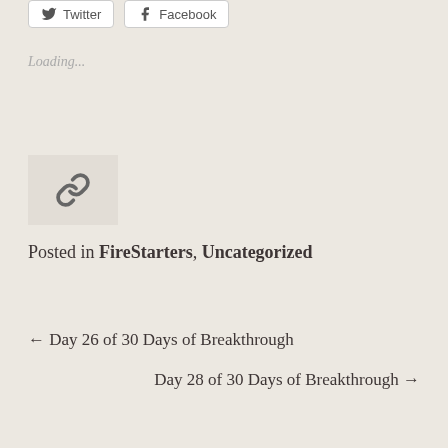[Figure (other): Social share buttons for Twitter and Facebook]
Loading...
[Figure (other): Link/chain icon in a light gray box]
Posted in FireStarters, Uncategorized
← Day 26 of 30 Days of Breakthrough
Day 28 of 30 Days of Breakthrough →